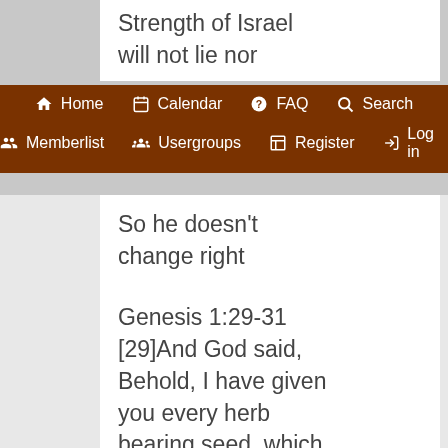Strength of Israel will not lie nor
Home | Calendar | FAQ | Search | Memberlist | Usergroups | Register | Log in
So he doesn't change right
Genesis 1:29-31 [29]And God said, Behold, I have given you every herb bearing seed, which is upon the face of all the earth, and every tree, in the which is the fruit of a tree yielding seed; to you it shall be for meat. [30]And to every beast of the earth